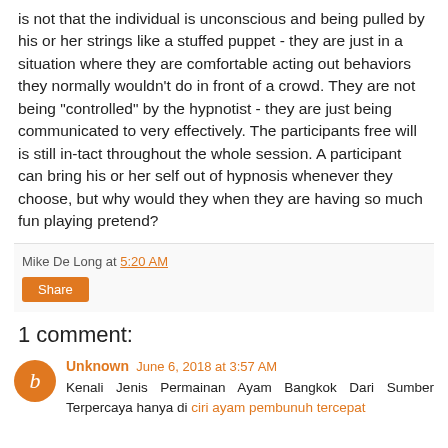is not that the individual is unconscious and being pulled by his or her strings like a stuffed puppet - they are just in a situation where they are comfortable acting out behaviors they normally wouldn't do in front of a crowd. They are not being "controlled" by the hypnotist - they are just being communicated to very effectively. The participants free will is still in-tact throughout the whole session. A participant can bring his or her self out of hypnosis whenever they choose, but why would they when they are having so much fun playing pretend?
Mike De Long at 5:20 AM
Share
1 comment:
Unknown June 6, 2018 at 3:57 AM
Kenali Jenis Permainan Ayam Bangkok Dari Sumber Terpercaya hanya di ciri ayam pembunuh tercepat